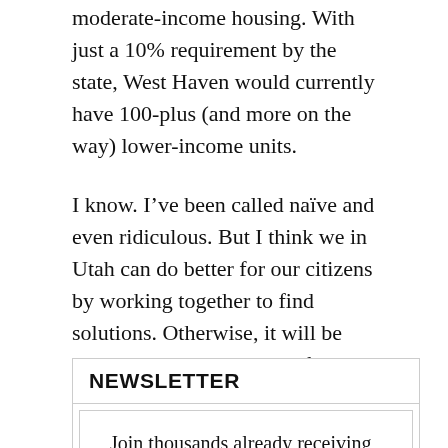moderate-income housing. With just a 10% requirement by the state, West Haven would currently have 100-plus (and more on the way) lower-income units.
I know. I’ve been called naïve and even ridiculous. But I think we in Utah can do better for our citizens by working together to find solutions. Otherwise, it will be business as usual and all of us, especially our citizens, lose. Our future depends on it.
Kim Dixon is a member of the West Haven City Council.
NEWSLETTER
Join thousands already receiving our daily newsletter.